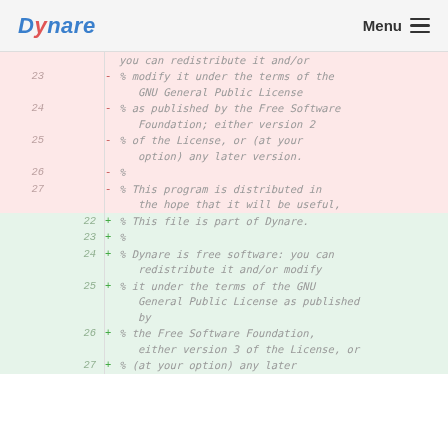Dynare   Menu
Diff view showing deleted lines (red): lines 23-27 removed, and added lines (green): lines 22-27 added. Deleted: 23 - % modify it under the terms of the GNU General Public License; 24 - % as published by the Free Software Foundation; either version 2; 25 - % of the License, or (at your option) any later version.; 26 - %; 27 - % This program is distributed in the hope that it will be useful, Added: 22 + % This file is part of Dynare.; 23 + %; 24 + % Dynare is free software: you can redistribute it and/or modify; 25 + % it under the terms of the GNU General Public License as published by; 26 + % the Free Software Foundation, either version 3 of the License, or; 27 + % (at your option) any later